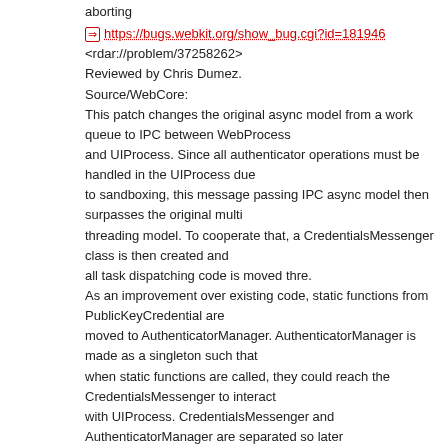aborting
⇒ https://bugs.webkit.org/show_bug.cgi?id=181946
<rdar://problem/37258262>
Reviewed by Chris Dumez.
Source/WebCore:
This patch changes the original async model from a work queue to IPC between WebProcess and UIProcess. Since all authenticator operations must be handled in the UIProcess due to sandboxing, this message passing IPC async model then surpasses the original multi threading model. To cooperate that, a CredentialsMessenger class is then created and all task dispatching code is moved thre.
As an improvement over existing code, static functions from PublicKeyCredential are moved to AuthenticatorManager. AuthenticatorManager is made as a singleton such that when static functions are called, they could reach the CredentialsMessenger to interact with UIProcess. CredentialsMessenger and AuthenticatorManager are separated so later on when other Credential types are created, they can reuse the same IPC messenger.
What's more, a mock CredentialsMessenger is then created to mock behaviors of UIProcess